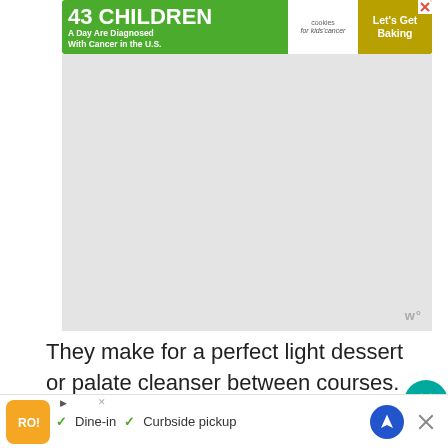[Figure (other): Advertisement banner: '43 CHILDREN A Day Are Diagnosed With Cancer in the U.S.' with cookies for kids' cancer logo and 'Let's Get Baking' call to action]
[Figure (other): Large gray rectangular advertisement placeholder area with watermark text 'w°' in bottom right corner]
They make for a perfect light dessert or palate cleanser between courses. They're so easy to make (3 ingredients people! 3 ingredients!), you can whip them up for a quick afternoon snack or br… all done.
[Figure (other): Bottom advertisement bar with restaurant logo, 'Dine-in', 'Curbside pickup' options and navigation/close buttons]